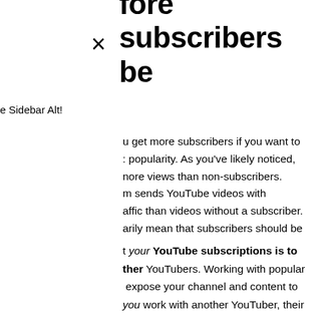fore subscribers be
×
e Sidebar Alt!
u get more subscribers if you want to : popularity. As you've likely noticed, nore views than non-subscribers. m sends YouTube videos with affic than videos without a subscriber. arily mean that subscribers should be
t your YouTube subscriptions is to ther YouTubers. Working with popular expose your channel and content to you work with another YouTuber, their exposed to your content, and vice ; with YouTube channels are possible